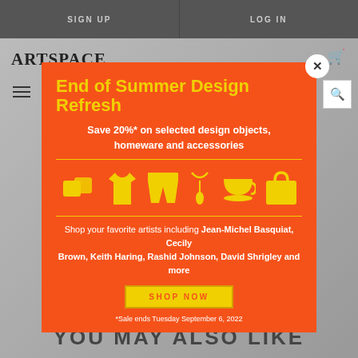SIGN UP    LOG IN
[Figure (screenshot): Artspace website screenshot showing navigation bar with logo, hamburger menu, cart and search icons, and a partial artwork image in the background. Below the modal shows 'YOU MAY ALSO LIKE' heading.]
End of Summer Design Refresh
Save 20%* on selected design objects, homeware and accessories
[Figure (illustration): Yellow icons on orange background showing: cushions/pillows, t-shirt, shorts, necklace/pendant, teacup and saucer, tote bag]
Shop your favorite artists including Jean-Michel Basquiat, Cecily Brown, Keith Haring, Rashid Johnson, David Shrigley and more
SHOP NOW
*Sale ends Tuesday September 6, 2022
YOU MAY ALSO LIKE